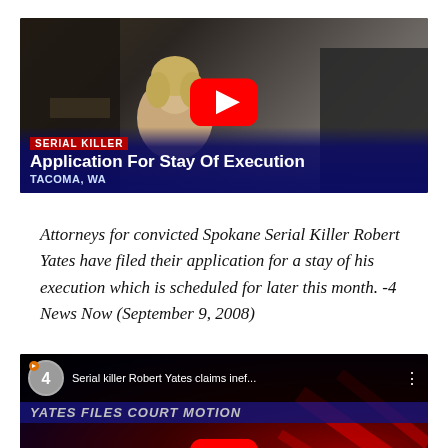[Figure (screenshot): YouTube video thumbnail showing a courtroom scene. Lower third reads 'SERIAL KILLER / Application For Stay Of Execution / TACOMA, WA'. YouTube play button overlaid at top center.]
Attorneys for convicted Spokane Serial Killer Robert Yates have filed their application for a stay of his execution which is scheduled for later this month. -4 News Now (September 9, 2008)
[Figure (screenshot): YouTube video thumbnail for 'Serial killer Robert Yates claims inef...' from Channel 4. Shows banner 'YATES FILES COURT MOTION' and bullet points: 'Yates: Suffers from brain damage' and 'Says attorneys di[d not properly use] courts'. YouTube play button overlaid.]